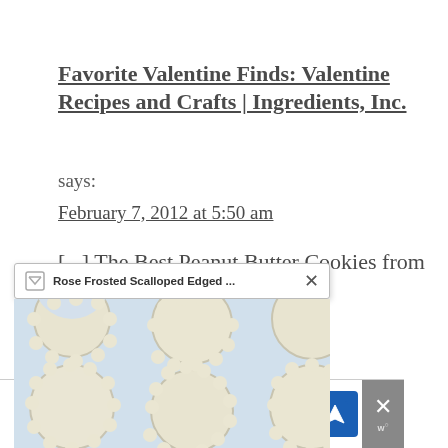Favorite Valentine Finds: Valentine Recipes and Crafts | Ingredients, Inc.
says:
February 7, 2012 at 5:50 am
[...] The Best Peanut Butter Cookies from
[Figure (screenshot): Browser tooltip popup showing 'Rose Frosted Scalloped Edged ...' with a close X button, overlaying a photo of round scalloped-edge cookies on white parchment paper]
Peanut Butter Icing | Created by Diane
[Figure (screenshot): Advertisement banner: Visit Premium Outlets - Leesburg Premium Outlets, with navigation icon and close button]